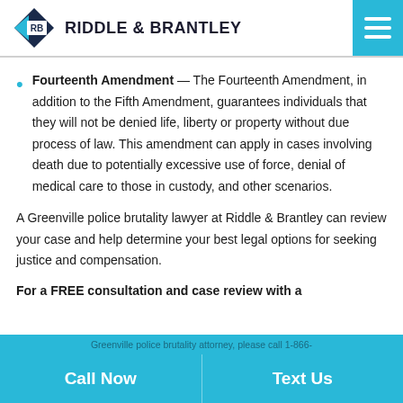[Figure (logo): Riddle & Brantley law firm logo with diamond/arrow icon and firm name]
Fourteenth Amendment — The Fourteenth Amendment, in addition to the Fifth Amendment, guarantees individuals that they will not be denied life, liberty or property without due process of law. This amendment can apply in cases involving death due to potentially excessive use of force, denial of medical care to those in custody, and other scenarios.
A Greenville police brutality lawyer at Riddle & Brantley can review your case and help determine your best legal options for seeking justice and compensation.
For a FREE consultation and case review with a
Greenville police brutality attorney, please call 1-866-